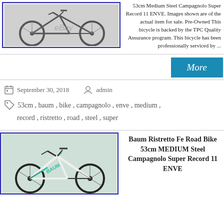[Figure (photo): Road bicycle photo with eBay watermark, shown in grayscale tones, bordered with dark blue border]
53cm Medium Steel Campagnolo Super Record 11 ENVE. Images shown are of the actual item for sale. Pre-Owned This bicycle is backed by the TPC Quality Assurance program. This bicycle has been professionally serviced by ...
More
September 30, 2018   admin
53cm , baum , bike , campagnolo , enve , medium , record , ristretto , road , steel , super
[Figure (photo): White and teal Baum Ristretto road bicycle photo, bordered with dark blue border]
Baum Ristretto Fe Road Bike 53cm MEDIUM Steel Campagnolo Super Record 11 ENVE